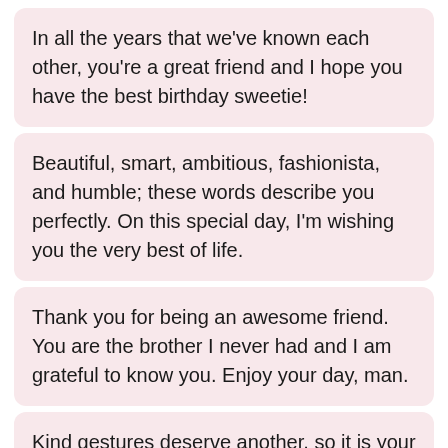In all the years that we've known each other, you're a great friend and I hope you have the best birthday sweetie!
Beautiful, smart, ambitious, fashionista, and humble; these words describe you perfectly. On this special day, I'm wishing you the very best of life.
Thank you for being an awesome friend. You are the brother I never had and I am grateful to know you. Enjoy your day, man.
Kind gestures deserve another, so it is your turn to sit back and enjoy the fun while your dear